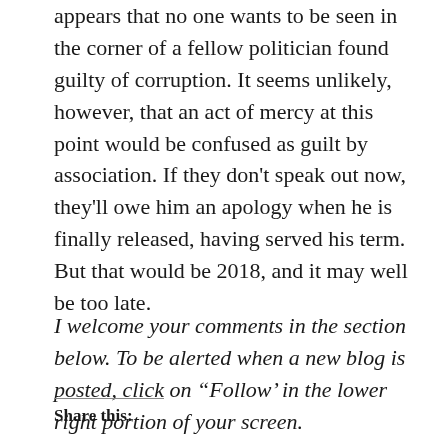appears that no one wants to be seen in the corner of a fellow politician found guilty of corruption. It seems unlikely, however, that an act of mercy at this point would be confused as guilt by association. If they don't speak out now, they'll owe him an apology when he is finally released, having served his term.  But that would be 2018, and it may well be too late.
I welcome your comments in the section below. To be alerted when a new blog is posted, click on “Follow’ in the lower right portion of your screen.
Share this: